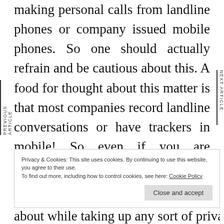making personal calls from landline phones or company issued mobile phones. So one should actually refrain and be cautious about this. A food for thought about this matter is that most companies record landline conversations or have trackers in mobile! So even if you are indulging in a private conversation then it is not 'private'
PREVIOUS ARTICLE
NEXT ARTICLE
Privacy & Cookies: This site uses cookies. By continuing to use this website, you agree to their use.
To find out more, including how to control cookies, see here: Cookie Policy
Close and accept
about while taking up any sort of private or